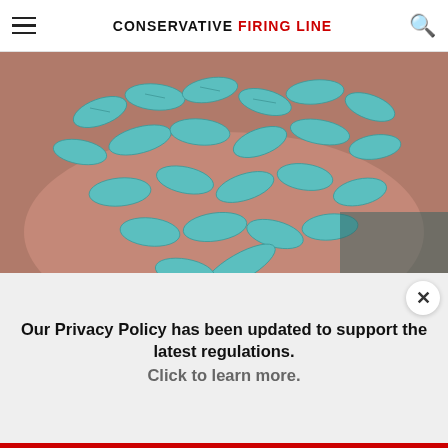CONSERVATIVE FIRING LINE
[Figure (photo): Close-up photo of a hand holding many small light blue/teal oval pills/tablets]
New "Genius" Pill Now 100% Legal in Virginia
The Healthy Living Club
[Figure (photo): Close-up photo of a woman's face with blonde hair, forehead and eyes visible, with blue background on the right]
Our Privacy Policy has been updated to support the latest regulations. Click to learn more.